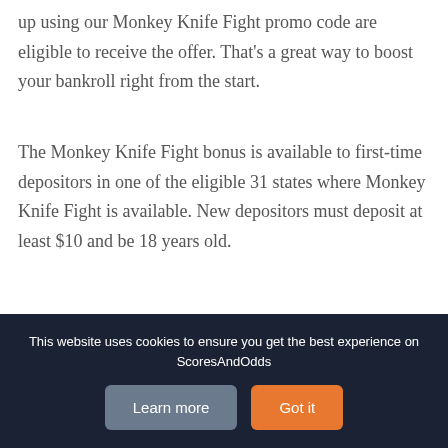up using our Monkey Knife Fight promo code are eligible to receive the offer. That's a great way to boost your bankroll right from the start.
The Monkey Knife Fight bonus is available to first-time depositors in one of the eligible 31 states where Monkey Knife Fight is available. New depositors must deposit at least $10 and be 18 years old.
Once a user deposits and receives a deposit match, the bonus funds will be credited to his or her 'Pending Bonus'
This website uses cookies to ensure you get the best experience on ScoresAndOdds